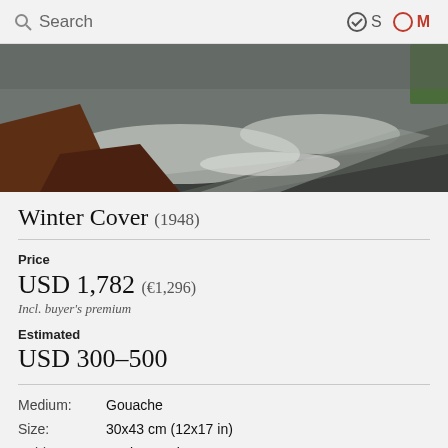Search   ✓S  ○M
[Figure (photo): Partial view of a painting showing a winter landscape with dark earth tones, white snow patches, and grey tones — appears to be an aerial or abstract winter scene.]
Winter Cover (1948)
Price
USD 1,782 (€1,296)
Incl. buyer's premium
Estimated
USD 300–500
|  |  |
| --- | --- |
| Medium: | Gouache |
| Size: | 30x43 cm (12x17 in) |
| Sold at: | Aspire Auctions, USA |